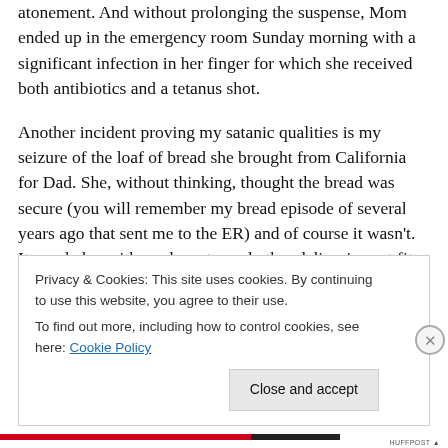atonement. And without prolonging the suspense, Mom ended up in the emergency room Sunday morning with a significant infection in her finger for which she received both antibiotics and a tetanus shot.
Another incident proving my satanic qualities is my seizure of the loaf of bread she brought from California for Dad. She, without thinking, thought the bread was secure (you will remember my bread episode of several years ago that sent me to the ER) and of course it wasn't. It was laden with seeds, nuts, and other delicacies not fit for a pug. I
Privacy & Cookies: This site uses cookies. By continuing to use this website, you agree to their use.
To find out more, including how to control cookies, see here: Cookie Policy